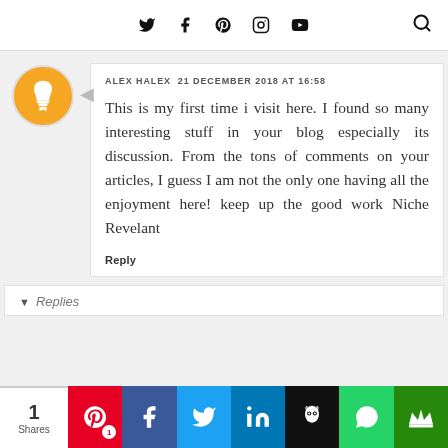Twitter · Facebook · Pinterest · Instagram · YouTube | Search
ALEX HALEX  21 DECEMBER 2018 AT 16:58

This is my first time i visit here. I found so many interesting stuff in your blog especially its discussion. From the tons of comments on your articles, I guess I am not the only one having all the enjoyment here! keep up the good work Niche Revelant
Reply
Replies